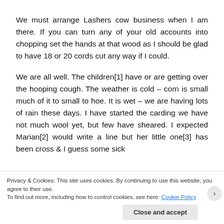We must arrange Lashers cow business when I am there. If you can turn any of your old accounts into chopping set the hands at that wood as I should be glad to have 18 or 20 cords cut any way if I could.
We are all well. The children[1] have or are getting over the hooping cough. The weather is cold – corn is small much of it to small to hoe. It is wet – we are having lots of rain these days. I have started the carding we have not much wool yet, but few have sheared. I expected Marian[2] would write a line but her little one[3] has been cross & I guess some sick
Privacy & Cookies: This site uses cookies. By continuing to use this website, you agree to their use.
To find out more, including how to control cookies, see here: Cookie Policy
Close and accept